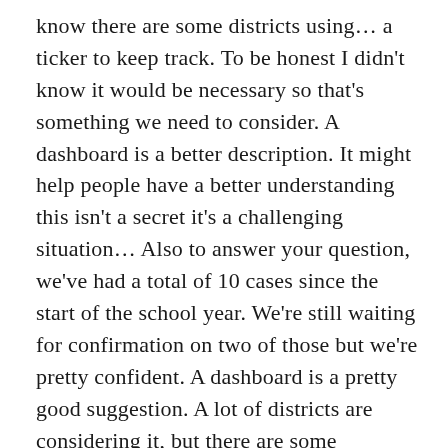know there are some districts using… a ticker to keep track. To be honest I didn't know it would be necessary so that's something we need to consider. A dashboard is a better description. It might help people have a better understanding this isn't a secret it's a challenging situation… Also to answer your question, we've had a total of 10 cases since the start of the school year. We're still waiting for confirmation on two of those but we're pretty confident. A dashboard is a pretty good suggestion. A lot of districts are considering it, but there are some drawbacks, too. But that'something we're going to take into consideration.